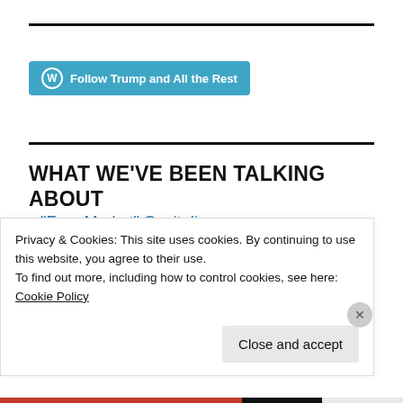[Figure (other): Horizontal black rule at top of page]
[Figure (other): WordPress follow button: 'Follow Trump and All the Rest' with WordPress logo icon, teal/blue background]
[Figure (other): Horizontal black rule dividing page sections]
WHAT WE'VE BEEN TALKING ABOUT
"Free Market" Capitalism
$6.4 Trillion Defense
10th Grade Civics
Privacy & Cookies: This site uses cookies. By continuing to use this website, you agree to their use.
To find out more, including how to control cookies, see here:
Cookie Policy
Close and accept